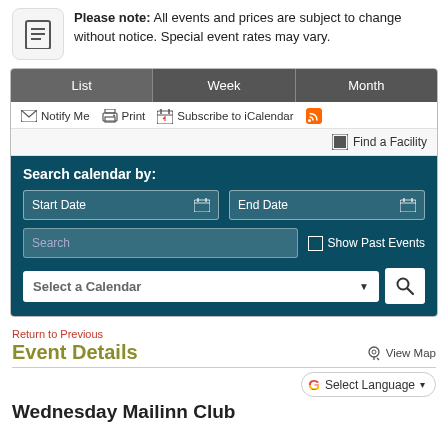Please note: All events and prices are subject to change without notice. Special event rates may vary.
[Figure (screenshot): Calendar widget with List/Week/Month tabs, toolbar with Notify Me, Print, Subscribe to iCalendar, RSS icon, Find a Facility link, and a dark teal search panel with Start Date, End Date, Search fields, Show Past Events checkbox, Select a Calendar dropdown, and search button.]
Return to Previous
Event Details
View Map
Select Language
Wednesday Mailinn Club